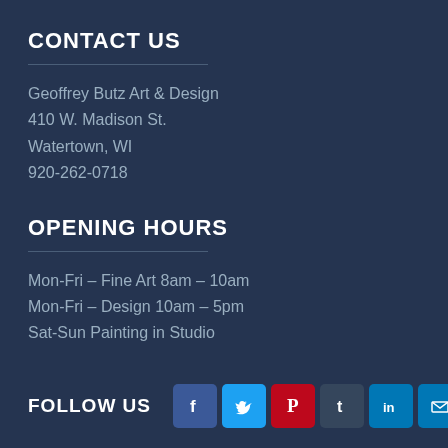CONTACT US
Geoffrey Butz Art & Design
410 W. Madison St.
Watertown, WI
920-262-0718
OPENING HOURS
Mon-Fri – Fine Art 8am – 10am
Mon-Fri – Design 10am – 5pm
Sat-Sun Painting in Studio
FOLLOW US
[Figure (infographic): Social media icons row: Facebook (blue), Twitter (light blue), Pinterest (red), Tumblr (dark blue), LinkedIn (blue), Email (blue envelope), Plus/share (light blue)]